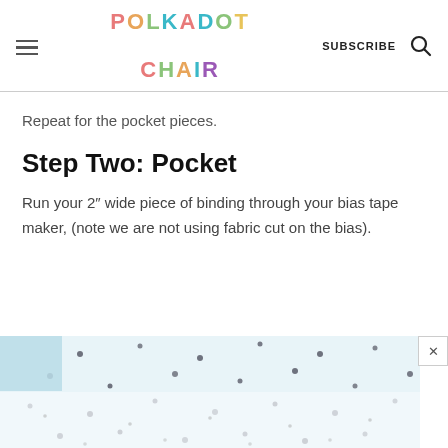POLKADOT CHAIR | SUBSCRIBE
Repeat for the pocket pieces.
Step Two: Pocket
Run your 2″ wide piece of binding through your bias tape maker, (note we are not using fabric cut on the bias).
[Figure (photo): Photo of fabric with a polka dot pattern, showing light blue and white dotted textile, partially obscured with an advertisement close button (x) in the corner.]